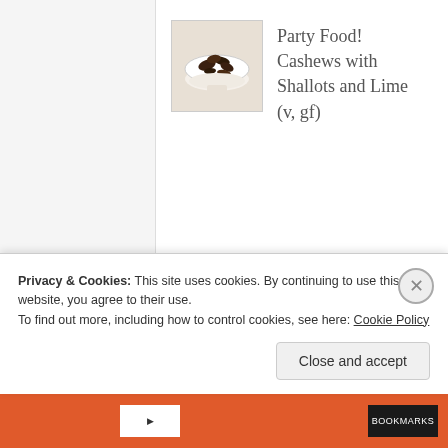[Figure (photo): Small bowl of cashews with shallots, dark colored nuts in a white bowl]
Party Food! Cashews with Shallots and Lime (v, gf)
ALLEZ! GOURMET: RECENT
Sichuan Leg of Lamb with Cool Celery Salad and Missouri Jasmine Rice (gf)
Privacy & Cookies: This site uses cookies. By continuing to use this website, you agree to their use.
To find out more, including how to control cookies, see here: Cookie Policy
Close and accept